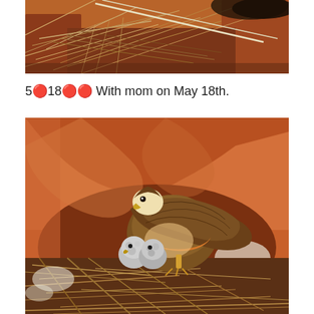[Figure (photo): Close-up photo of a bird nest made of dried sticks and grass against reddish-brown sandstone rock. A dark bird wing is partially visible at the top.]
5🔴18🔴🔴 With mom on May 18th.
[Figure (photo): Photo of a red-tailed hawk (mother) standing in a nest carved into orange-red sandstone rock, with two fluffy gray chicks visible beneath her. The nest is made of dried sticks and grass.]